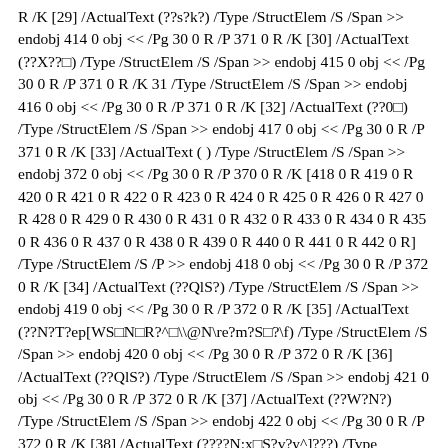R /K [29] /ActualText (??s?k?) /Type /StructElem /S /Span >> endobj 414 0 obj << /Pg 30 0 R /P 371 0 R /K [30] /ActualText (??X??□) /Type /StructElem /S /Span >> endobj 415 0 obj << /Pg 30 0 R /P 371 0 R /K 31 /Type /StructElem /S /Span >> endobj 416 0 obj << /Pg 30 0 R /P 371 0 R /K [32] /ActualText (??0□) /Type /StructElem /S /Span >> endobj 417 0 obj << /Pg 30 0 R /P 371 0 R /K [33] /ActualText ( ) /Type /StructElem /S /Span >> endobj 372 0 obj << /Pg 30 0 R /P 370 0 R /K [418 0 R 419 0 R 420 0 R 421 0 R 422 0 R 423 0 R 424 0 R 425 0 R 426 0 R 427 0 R 428 0 R 429 0 R 430 0 R 431 0 R 432 0 R 433 0 R 434 0 R 435 0 R 436 0 R 437 0 R 438 0 R 439 0 R 440 0 R 441 0 R 442 0 R] /Type /StructElem /S /P >> endobj 418 0 obj << /Pg 30 0 R /P 372 0 R /K [34] /ActualText (??QlS?) /Type /StructElem /S /Span >> endobj 419 0 obj << /Pg 30 0 R /P 372 0 R /K [35] /ActualText (??N?T?ep[WS□N□R?^□\@N\re?m?S□?) /Type /StructElem /S /Span >> endobj 420 0 obj << /Pg 30 0 R /P 372 0 R /K [36] /ActualText (??QlS?) /Type /StructElem /S /Span >> endobj 421 0 obj << /Pg 30 0 R /P 372 0 R /K [37] /ActualText (??W?N?) /Type /StructElem /S /Span >> endobj 422 0 obj << /Pg 30 0 R /P 372 0 R /K [38] /ActualText (????N;x□S?v?y^]???) /Type /StructElem /S /Span >> endobj 423 0 obj << /Pg 30 0 R /P 372 0 R /K [39] /ActualText (??{IN?S□) /Type /StructElem /S /Span >> endobj 424 0 obj << /Pg 30 0 R /P 372 0 R /K [40] /ActualText (??N?T??\f) /Type /StructElem /S /Span >> endobj 425 0 obj << /Pg 30 0 R /P 372 0 R /K [41] /ActualText (????[? □N? □0□ □{? □0□ □z? □N\te??b??L  S?T?etT\b)